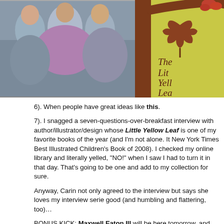[Figure (photo): Group photo of people at top left, partially visible]
[Figure (photo): Book cover of 'The Little Yellow Leaf' showing tree branch with oak leaf on yellow-green background, partially cropped on right side]
6). When people have great ideas like this.
7). I snagged a seven-questions-over-breakfast interview with author/illustrator/designer whose Little Yellow Leaf is one of my favorite books of the year (and I'm not alone. It New York Times Best Illustrated Children's Book of 2008). I checked my online library and literally yelled, "NO!" when I saw I had to turn it in that day. That's going to be one and add to my collection for sure.
Anyway, Carin not only agreed to the interview but says she loves my interview serie good (and humbling and flattering, too)…
BONUS KICK: Maxwell Eaton III will be here tomorrow, and he's a very funny ma might add. I think he's, like, in his 20s, and I want to just pinch his cheeks.
What are YOUR kicks this week?